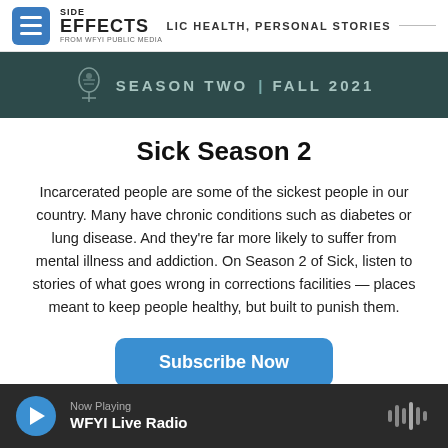Side Effects Public Health, Personal Stories — from WFYI Public Media
[Figure (screenshot): Season Two | Fall 2021 dark teal banner with decorative tree/crest icon]
Sick Season 2
Incarcerated people are some of the sickest people in our country. Many have chronic conditions such as diabetes or lung disease. And they're far more likely to suffer from mental illness and addiction. On Season 2 of Sick, listen to stories of what goes wrong in corrections facilities — places meant to keep people healthy, but built to punish them.
Subscribe Now
Now Playing — WFYI Live Radio